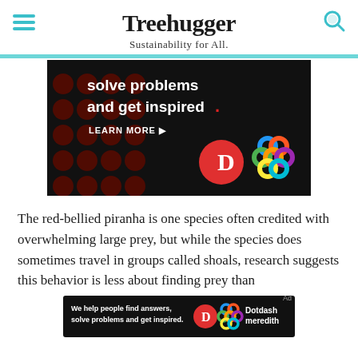Treehugger
Sustainability for All.
[Figure (infographic): Advertisement banner with black background, dark red dots pattern on left, white bold text reading 'solve problems and get inspired.' with red period, 'LEARN MORE' button with arrow, Dotdash 'D' logo in red circle, and multicolored interlocking circles logo on right.]
The red-bellied piranha is one species often credited with overwhelming large prey, but while the species does sometimes travel in groups called shoals, research suggests this behavior is less about finding prey than
[Figure (infographic): Small advertisement banner with black background. Text: 'We help people find answers, solve problems and get inspired.' with Dotdash D logo and Dotdash meredith branding.]